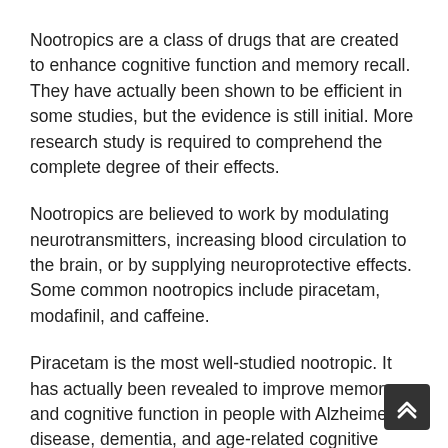Nootropics are a class of drugs that are created to enhance cognitive function and memory recall. They have actually been shown to be efficient in some studies, but the evidence is still initial. More research study is required to comprehend the complete degree of their effects.
Nootropics are believed to work by modulating neurotransmitters, increasing blood circulation to the brain, or by supplying neuroprotective effects. Some common nootropics include piracetam, modafinil, and caffeine.
Piracetam is the most well-studied nootropic. It has actually been revealed to improve memory and cognitive function in people with Alzheimer's disease, dementia, and age-related cognitive decline. Modafinil is a wakefulness-promoting agen that has been revealed to enhance caution and